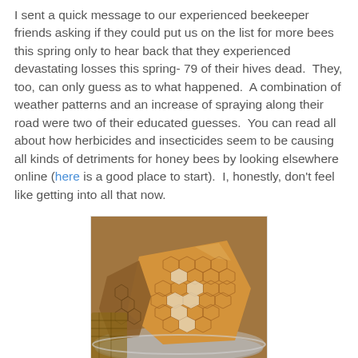I sent a quick message to our experienced beekeeper friends asking if they could put us on the list for more bees this spring only to hear back that they experienced devastating losses this spring- 79 of their hives dead.  They, too, can only guess as to what happened.  A combination of weather patterns and an increase of spraying along their road were two of their educated guesses.  You can read all about how herbicides and insecticides seem to be causing all kinds of detriments for honey bees by looking elsewhere online (here is a good place to start).  I, honestly, don't feel like getting into all that now.
[Figure (photo): Photo of honeycomb pieces in a metal bowl, showing golden hexagonal wax comb structure with some capped honey cells.]